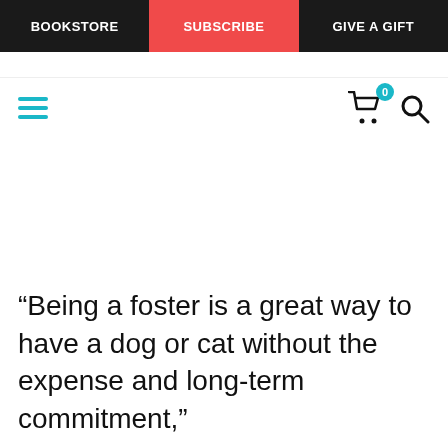BOOKSTORE | SUBSCRIBE | GIVE A GIFT
…partial text line…
[Figure (screenshot): Navigation toolbar with teal hamburger menu icon on left, shopping cart icon with teal badge showing 0 and search icon on right]
“Being a foster is a great way to have a dog or cat without the expense and long-term commitment,”